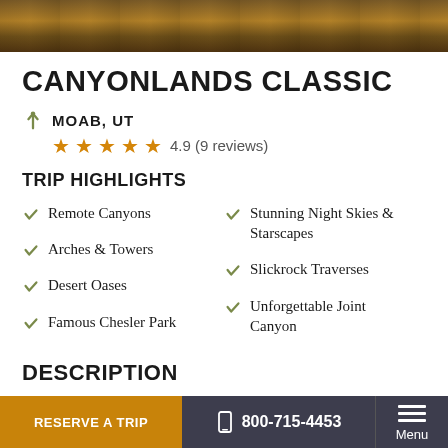[Figure (photo): Hero image of Canyonlands landscape with warm orange/brown tones]
CANYONLANDS CLASSIC
MOAB, UT
4.9 (9 reviews)
TRIP HIGHLIGHTS
Remote Canyons
Arches & Towers
Desert Oases
Famous Chesler Park
Stunning Night Skies & Starscapes
Slickrock Traverses
Unforgettable Joint Canyon
DESCRIPTION
RESERVE A TRIP  800-715-4453  Menu